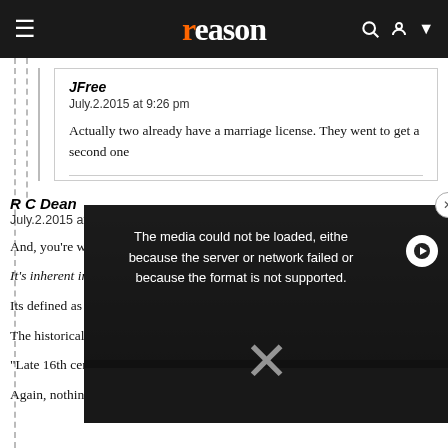reason
JFree
July.2.2015 at 9:26 pm

Actually two already have a marriage license. They went to get a second one
R C Dean
July.2.2015 at 3:25 pm

And, you're wrong about this:

It's inherent in th...

Its defined as "Th... husband at the sa...

The historical ori...

"Late 16th centu... polugamia, from...

Again, nothing about "several" marriages.
[Figure (screenshot): Video player overlay showing error message: 'The media could not be loaded, either because the server or network failed or because the format is not supported.' with a close button (x) and play button.]